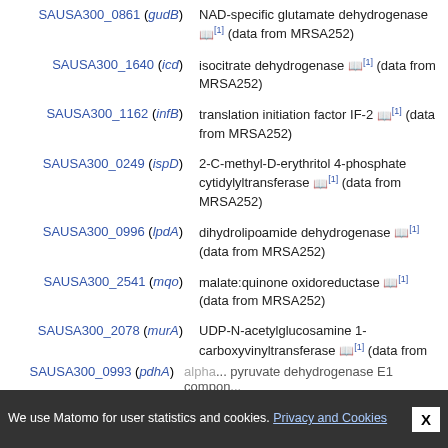SAUSA300_0861 (gudB) — NAD-specific glutamate dehydrogenase [1] (data from MRSA252)
SAUSA300_1640 (icd) — isocitrate dehydrogenase [1] (data from MRSA252)
SAUSA300_1162 (infB) — translation initiation factor IF-2 [1] (data from MRSA252)
SAUSA300_0249 (ispD) — 2-C-methyl-D-erythritol 4-phosphate cytidylyltransferase [1] (data from MRSA252)
SAUSA300_0996 (lpdA) — dihydrolipoamide dehydrogenase [1] (data from MRSA252)
SAUSA300_2541 (mqo) — malate:quinone oxidoreductase [1] (data from MRSA252)
SAUSA300_2078 (murA) — UDP-N-acetylglucosamine 1-carboxyvinyltransferase [1] (data from MRSA252)
SAUSA300_0993 (pdhA) — alpha-... pyruvate dehydrogenase E1 component ... [1]
We use Matomo for user statistics and cookies. Privacy and Cookies X